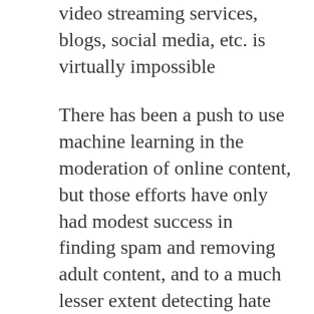video streaming services, blogs, social media, etc. is virtually impossible
There has been a push to use machine learning in the moderation of online content, but those efforts have only had modest success in finding spam and removing adult content, and to a much lesser extent detecting hate speech.
Fighting fake news is a much more complicated challenge. Fact-checking websites such as Snopes, FactCheck.org, and PolitiFact do a decent job of impartially verifying rumors, news, and remarks made by politicians. But they have limited reach.
It would be unreasonable to expect current